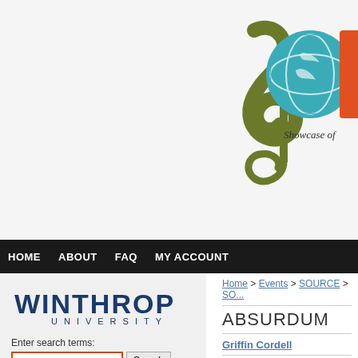[Figure (logo): SOURCE - Showcase of Undergraduate Research and Creative Endeavors logo with musical treble clef in green, blue circle with globe, and orange rectangle. Text: 'Showcase of']
HOME   ABOUT   FAQ   MY ACCOUNT
[Figure (logo): Winthrop University logo with stylized text]
Enter search terms:
in this collection
Advanced Search
Notify me via email or RSS
Home > Events > SOURCE > SO...
ABSURDUM
Griffin Cordell
Faculty Sponsor (for work...